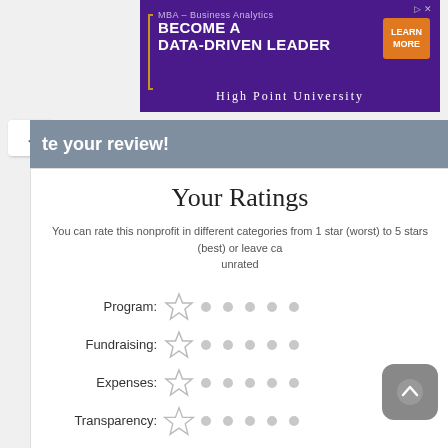[Figure (illustration): Advertisement banner for High Point University MBA – Business Analytics program with purple background, orange 'LEARN MORE' button, and gold bracket accent. Text: 'MBA – Business Analytics / BECOME A DATA-DRIVEN LEADER / HIGH POINT UNIVERSITY']
Write your review!
Your Ratings
You can rate this nonprofit in different categories from 1 star (worst) to 5 stars (best) or leave categories unrated
Program: [star rating selector]
Fundraising: [star rating selector]
Expenses: [star rating selector]
Transparency: [star rating selector]
Your Review